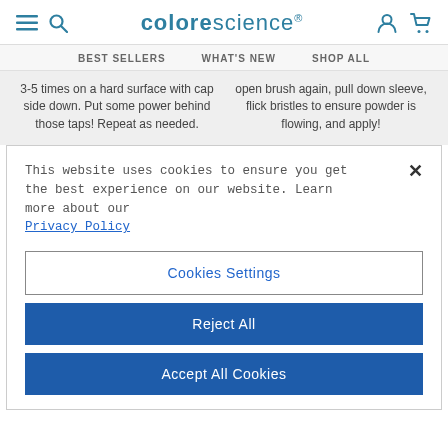colorescience
BEST SELLERS   WHAT'S NEW   SHOP ALL
3-5 times on a hard surface with cap side down. Put some power behind those taps! Repeat as needed.
open brush again, pull down sleeve, flick bristles to ensure powder is flowing, and apply!
This website uses cookies to ensure you get the best experience on our website. Learn more about our Privacy Policy
Cookies Settings
Reject All
Accept All Cookies